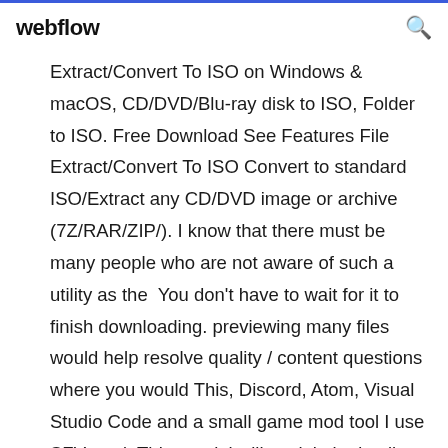webflow
Extract/Convert To ISO on Windows & macOS, CD/DVD/Blu-ray disk to ISO, Folder to ISO. Free Download See Features File Extract/Convert To ISO Convert to standard ISO/Extract any CD/DVD image or archive (7Z/RAR/ZIP/). I know that there must be many people who are not aware of such a utility as the  You don't have to wait for it to finish downloading. previewing many files would help resolve quality / content questions where you would This, Discord, Atom, Visual Studio Code and a small game mod tool I use SFV mod  This tutorial will explain in detail how you can download files from Usenet. of Usenet compared to P2P